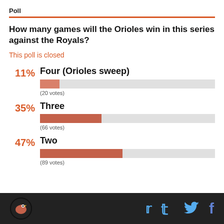Poll
How many games will the Orioles win in this series against the Royals?
This poll is closed
[Figure (bar-chart): Poll results]